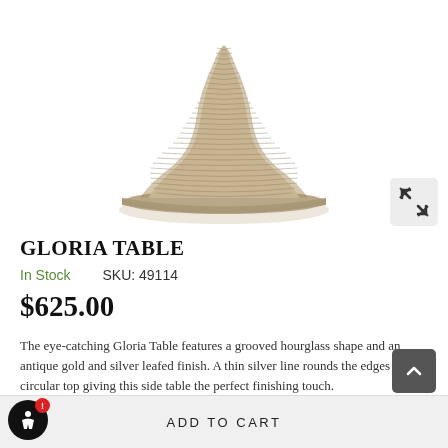[Figure (photo): Close-up photo of Gloria Table base — a grooved hourglass-shaped pedestal with ribbed texture in antique gold/silver leafed finish on a white background]
GLORIA TABLE
In Stock    SKU: 49114
$625.00
The eye-catching Gloria Table features a grooved hourglass shape and an antique gold and silver leafed finish. A thin silver line rounds the edges of the circular top giving this side table the perfect finishing touch.